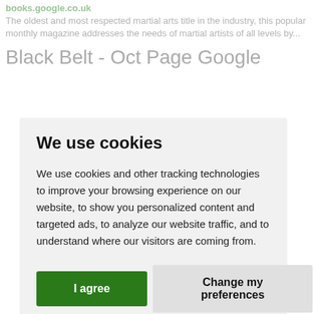books.google.co.uk
The oldest and most respected martial arts title in the industry, this popular monthly magazine addresses the needs of martial artists of all levels by...
Black Belt - Oct Page Google
We use cookies
We use cookies and other tracking technologies to improve your browsing experience on our website, to show you personalized content and targeted ads, to analyze our website traffic, and to understand where our visitors are coming from.
I agree
Change my preferences